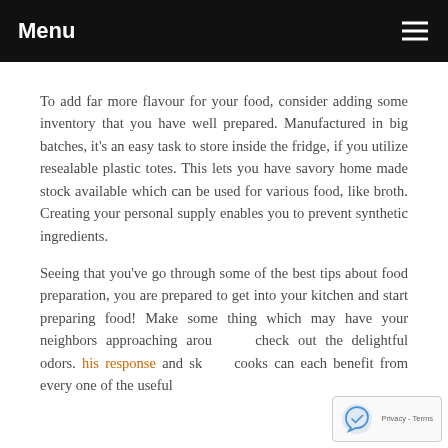Menu
To add far more flavour for your food, consider adding some inventory that you have well prepared. Manufactured in big batches, it's an easy task to store inside the fridge, if you utilize resealable plastic totes. This lets you have savory home made stock available which can be used for various food, like broth. Creating your personal supply enables you to prevent synthetic ingredients.
Seeing that you've go through some of the best tips about food preparation, you are prepared to get into your kitchen and start preparing food! Make some thing which may have your neighbors approaching around to check out the delightful odors. his response and skilled cooks can each benefit from every one of the useful